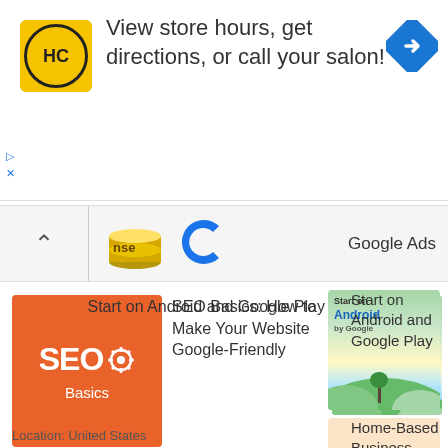[Figure (infographic): Ad banner: HC salon logo, text 'View store hours, get directions, or call your salon!', blue diamond arrow icon]
[Figure (infographic): Google Ads bar with up chevron, coin/currency images, 'nse' text, blue C logo, and 'Google Ads' label]
[Figure (photo): SEO Basics book cover - orange background with SEO and gear icon text]
SEO Basics: How to Make Your Website Google-Friendly
[Figure (illustration): Start on Android by Google - scenic illustration with hills and sky]
Start on Android and Google Play
[Figure (illustration): Super Mom home-based business illustration with woman holding various items]
Home-Based Business Ideas for Moms
Location: United States